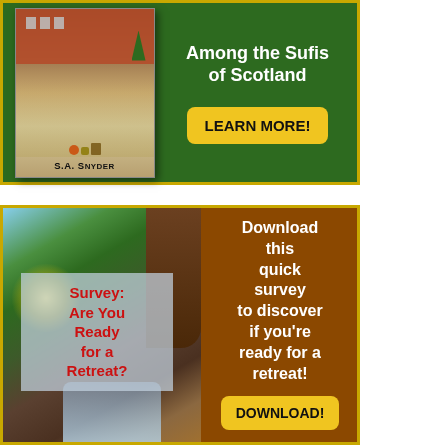[Figure (illustration): Book advertisement banner with green background and yellow border. Shows a book cover by S.A. Snyder on the left and text 'Among the Sufis of Scotland' with a 'LEARN MORE!' button on the right.]
Among the Sufis of Scotland
LEARN MORE!
[Figure (illustration): Survey advertisement banner with brown/orange background and yellow border. Shows a nature/waterfall photo with overlay text 'Survey: Are You Ready for a Retreat?' on the left. Right side has text 'Download this quick survey to discover if you're ready for a retreat!' with 'DOWNLOAD!' button.]
Survey: Are You Ready for a Retreat?
Download this quick survey to discover if you're ready for a retreat!
DOWNLOAD!